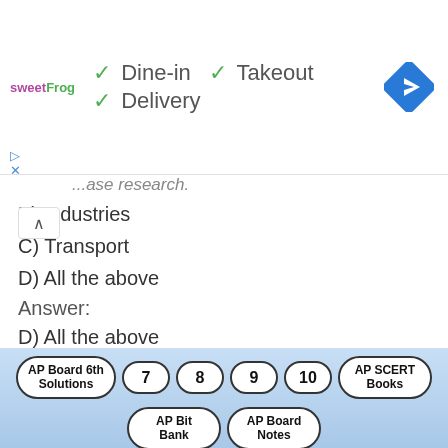[Figure (screenshot): Ad banner for sweetFrog frozen yogurt showing Dine-in, Takeout, and Delivery options with checkmarks, plus a navigation/directions icon]
B) Industries
C) Transport
D) All the above
Answer:
D) All the above
Question 42.
In the 19th century these opposed power looms in England.
A) labour
AP Board 6th Solutions  7  8  9  10  AP SCERT Books  AP Bit Bank  AP Board Notes